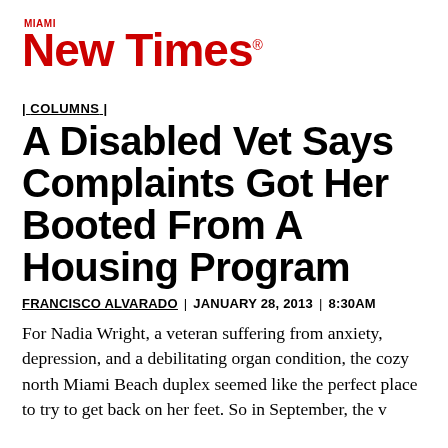[Figure (logo): Miami New Times logo in red]
| COLUMNS |
A Disabled Vet Says Complaints Got Her Booted From A Housing Program
FRANCISCO ALVARADO | JANUARY 28, 2013 | 8:30AM
For Nadia Wright, a veteran suffering from anxiety, depression, and a debilitating organ condition, the cozy north Miami Beach duplex seemed like the perfect place to try to get back on her feet. So in September, the v...